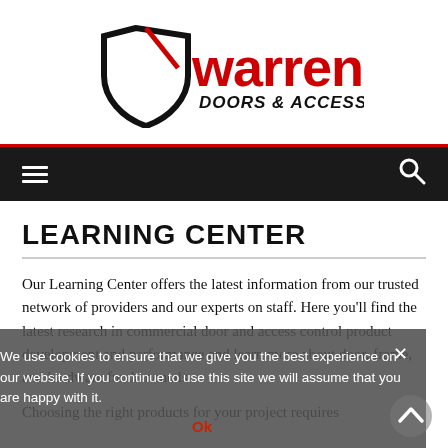[Figure (logo): Warren Doors & Access Control logo with shield icon in black and red]
Navigation bar with hamburger menu icon and search icon
LEARNING CENTER
Our Learning Center offers the latest information from our trusted network of providers and our experts on staff. Here you'll find the latest research in commercial door and access control product development and performance and learn more about door, frame, and hardware fundamentals.
Choosing the right products for your project requires
We use cookies to ensure that we give you the best experience on our website. If you continue to use this site we will assume that you are happy with it.